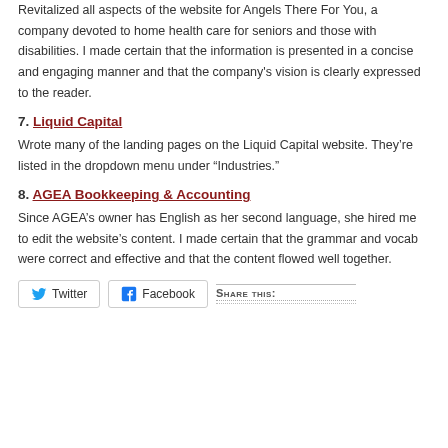Revitalized all aspects of the website for Angels There For You, a company devoted to home health care for seniors and those with disabilities. I made certain that the information is presented in a concise and engaging manner and that the company's vision is clearly expressed to the reader.
7. Liquid Capital
Wrote many of the landing pages on the Liquid Capital website. They’re listed in the dropdown menu under “Industries.”
8. AGEA Bookkeeping & Accounting
Since AGEA’s owner has English as her second language, she hired me to edit the website’s content. I made certain that the grammar and vocab were correct and effective and that the content flowed well together.
Twitter  Facebook  Share this: